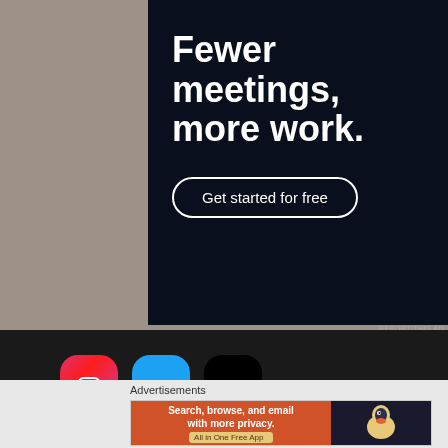[Figure (screenshot): Advertisement banner with dark navy background showing text 'Fewer meetings, more work.' and a 'Get started for free' button with rounded border]
REPORT THIS AD
[Figure (screenshot): Dark website footer section with Instagram (pink/red rounded), Twitter (blue rounded), and TikTok (black rounded) social media icon buttons]
Advertisements
[Figure (screenshot): DuckDuckGo advertisement banner: orange left side with text 'Search, browse, and email with more privacy. All in One Free App' and dark right side with DuckDuckGo duck logo]